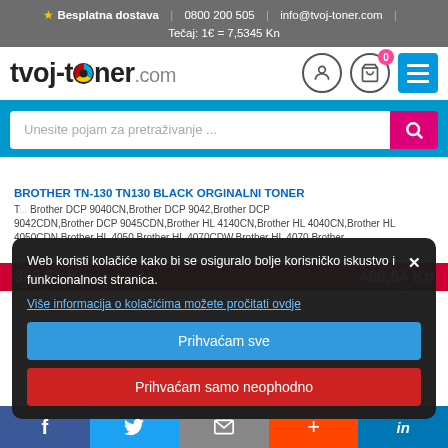Besplatna dostava | 0800 200 505 | info@tvoj-toner.com | Tečaj: 1€ = 7,5345 Kn
[Figure (screenshot): tvoj-toner.com logo with colorful 'o' in toner, user icon, cart with badge 0, menu button]
[Figure (screenshot): Search bar with placeholder 'Unesite pojam za pretraživanje ...' and pink search button]
BROTHER TN-130 TN130 BLACK ORGINALNI TONER
Compatible printer list including Brother DCP 9040CN, Brother DCP 9042, Brother DCP 9042CDN, Brother DCP 9045CDN, Brother HL 4140CN, Brother HL 4040CN, Brother HL 4050CDN, Brother HL 4050, Brother HL 4070CDW, Brother HL 4070, Brother...
Cookie notice: Web koristi kolačiće kako bi se osiguralo bolje korisničko iskustvo i funkcionalnost stranica. Više informacija o kolačićima možete pročitati ovdje
Prihvaćam sve
Prihvaćam samo neophodno
368,51 Kn bez PDV-a | 460,64 Kn s PDV-om
f | Twitter | mail | + | in